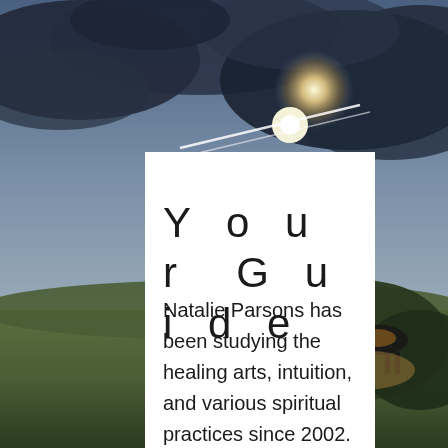[Figure (photo): A landscape photo with dramatic sky featuring a bright sun and vapor trail streaks over a dark cloudy sky. In the lower right portion, a dark silhouette of what appears to be a horse or animal grazing on a hillside with golden evening light. A white card/panel overlaps the left side of the image.]
Your Guide
Natalie Parsons has been studying the healing arts, intuition, and various spiritual practices since 2002.  Her work in mental health, as a wellness and recovery facilitator and a first voice speaker within trauma-informed seminars